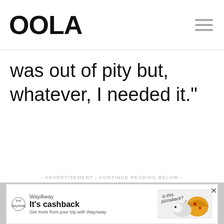OOLA
was out of pity but, whatever, I needed it."
- ADVERTISEMENT - CONTINUE READING BELOW -
[Figure (other): Advertisement banner for WayAway with cashback offer, showing 'It\'s cashback' headline, WayAway logo, and cartoon hedgehog with pizza graphic. Close button X visible.]